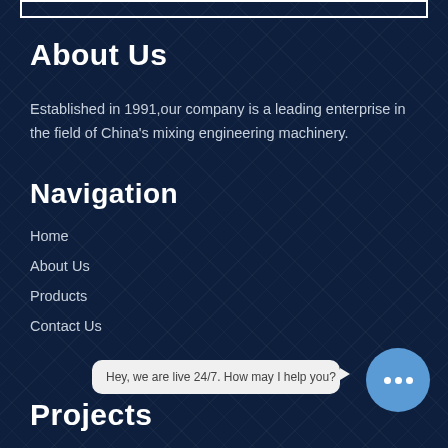About Us
Established in 1991,our company is a leading enterprise in the field of China's mixing engineering machinery.
Navigation
Home
About Us
Products
Contact Us
Projects
Hey, we are live 24/7. How may I help you?